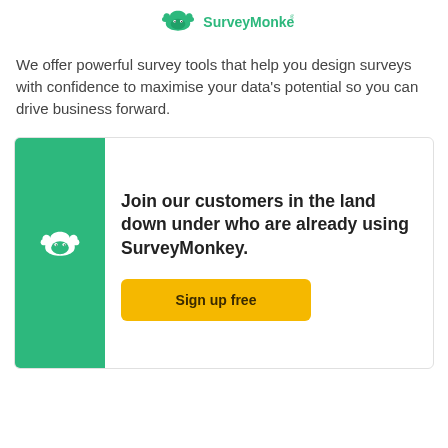SurveyMonkey
We offer powerful survey tools that help you design surveys with confidence to maximise your data's potential so you can drive business forward.
[Figure (infographic): Promotional card with green side panel featuring SurveyMonkey logo, heading 'Join our customers in the land down under who are already using SurveyMonkey.' and a yellow 'Sign up free' button.]